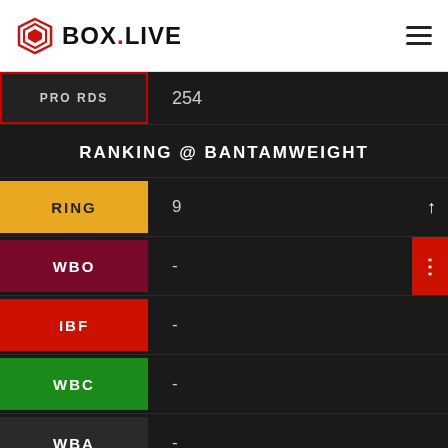[Figure (logo): BOX.LIVE logo with hexagon/diamond icon in red and the text BOX.LIVE]
| Category | Value |
| --- | --- |
| PRO RDS | 254 |
| RANKING @ BANTAMWEIGHT |  |
| RING | 9 |
| WBO | - |
| IBF | - |
| WBC | - |
| WBA | - |